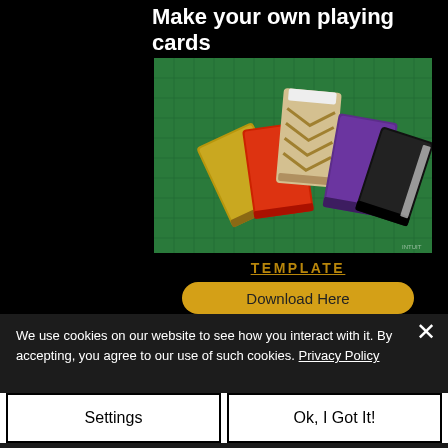Make your own playing cards
[Figure (photo): Five handmade playing card boxes/decks with different colored covers (gold/tan, red, tan chevron pattern, purple, black) arranged on a green cutting mat grid background.]
TEMPLATE
Download Here
We use cookies on our website to see how you interact with it. By accepting, you agree to our use of such cookies. Privacy Policy
Settings
Ok, I Got It!